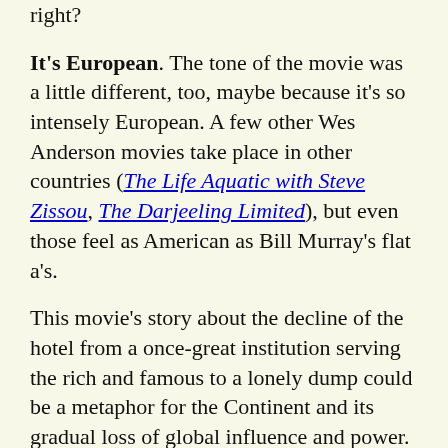right? It's European. The tone of the movie was a little different, too, maybe because it's so intensely European. A few other Wes Anderson movies take place in other countries (The Life Aquatic with Steve Zissou, The Darjeeling Limited), but even those feel as American as Bill Murray's flat a's. This movie's story about the decline of the hotel from a once-great institution serving the rich and famous to a lonely dump could be a metaphor for the Continent and its gradual loss of global influence and power. The hotel's physical transformation from an ornate pink palace to an orangey-brown Soviet-era slab of drab mirrors what happened to much of Eastern Europe over the course of the 20th century. It was shot around Dresden, in